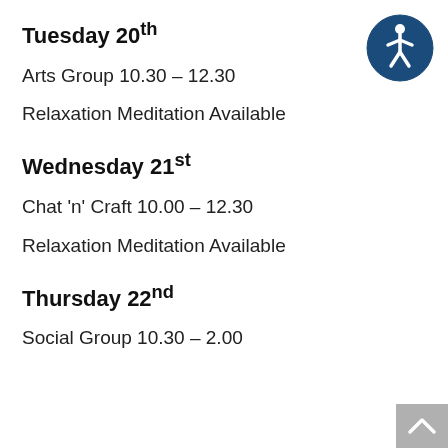Tuesday 20th
Arts Group 10.30 – 12.30
Relaxation Meditation Available
Wednesday 21st
Chat 'n' Craft 10.00 – 12.30
Relaxation Meditation Available
Thursday 22nd
Social Group 10.30 – 2.00
[Figure (logo): Accessibility icon: dark blue circle with white wheelchair-accessible person figure]